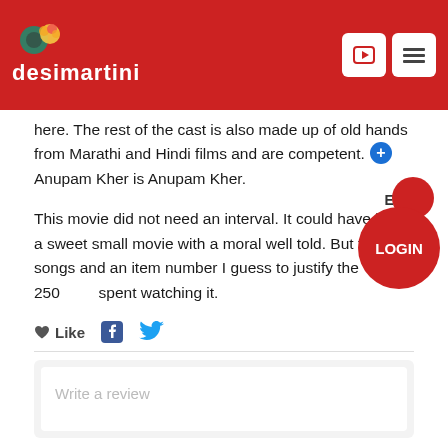desimartini
here. The rest of the cast is also made up of old hands from Marathi and Hindi films and are competent. Anupam Kher is Anupam Kher.
This movie did not need an interval. It could have been a sweet small movie with a moral well told. But they needed songs and an item number I guess to justify the 250 spent watching it.
Like
MORE AUDIENCE REVIEWS